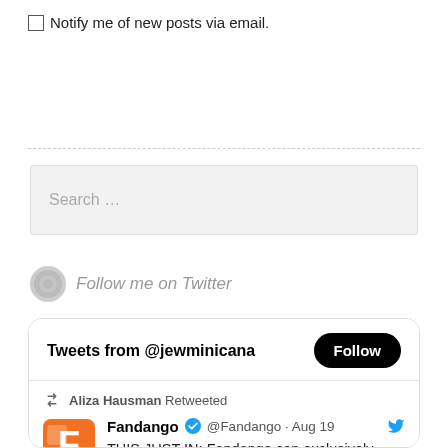Notify me of new posts via email.
Search ...
Follow me on Twitter
[Figure (screenshot): Twitter widget showing Tweets from @jewminicana with a Follow button, and a retweet by Aliza Hausman of Fandango announcing the re-release of #SpiderManNoWayHome with 11 minutes of new footage on September 2, tickets on sale this Tuesday.]